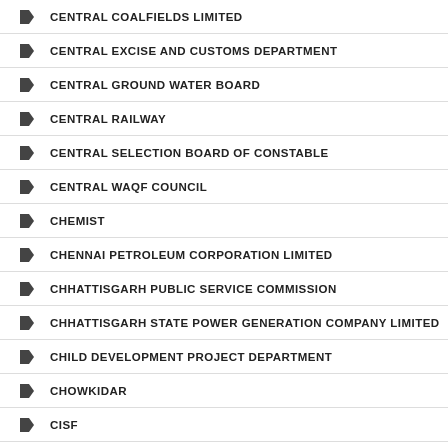CENTRAL COALFIELDS LIMITED
CENTRAL EXCISE AND CUSTOMS DEPARTMENT
CENTRAL GROUND WATER BOARD
CENTRAL RAILWAY
CENTRAL SELECTION BOARD OF CONSTABLE
CENTRAL WAQF COUNCIL
CHEMIST
CHENNAI PETROLEUM CORPORATION LIMITED
CHHATTISGARH PUBLIC SERVICE COMMISSION
CHHATTISGARH STATE POWER GENERATION COMPANY LIMITED
CHILD DEVELOPMENT PROJECT DEPARTMENT
CHOWKIDAR
CISF